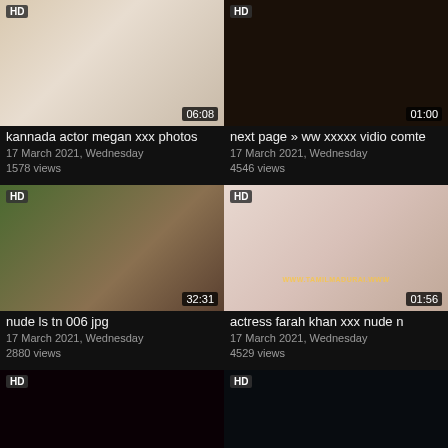[Figure (screenshot): Video thumbnail - person sitting, HD badge, duration 06:08]
kannada actor megan xxx photos
17 March 2021, Wednesday
1578 views
[Figure (screenshot): Video thumbnail - dark scene, HD badge, duration 01:00]
next page » ww xxxxx vidio comte
17 March 2021, Wednesday
4546 views
[Figure (screenshot): Video thumbnail - outdoor scene, HD badge, duration 32:31]
nude ls tn 006 jpg
17 March 2021, Wednesday
2880 views
[Figure (screenshot): Video thumbnail - indoor scene with watermark, HD badge, duration 01:56]
actress farah khan xxx nude n
17 March 2021, Wednesday
4529 views
[Figure (screenshot): Video thumbnail - partial, HD badge, bottom row left]
[Figure (screenshot): Video thumbnail - partial, HD badge, bottom row right]